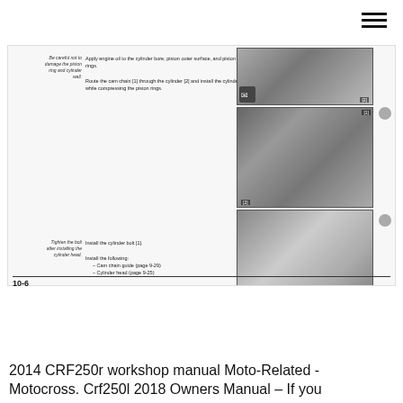[Figure (photo): Hamburger menu icon in top right corner]
[Figure (photo): Top photo: engine component with cam chain, labeled [2]]
Be careful not to damage the piston ring and cylinder wall.
Apply engine oil to the cylinder bore, piston outer surface, and piston rings. Route the cam chain [1] through the cylinder [2] and install the cylinder while compressing the piston rings.
[Figure (photo): Middle photo: cylinder installation showing cam chain routing, labeled [2]]
Tighten the bolt after installing the cylinder head.
Install the cylinder bolt [1]. Install the following:
– Cam chain guide (page 9-29)
– Cylinder head (page 9-25)
[Figure (photo): Bottom photo: cylinder head installed, labeled [1]]
10-6
2014 CRF250r workshop manual Moto-Related - Motocross. Crf250l 2018 Owners Manual – If you